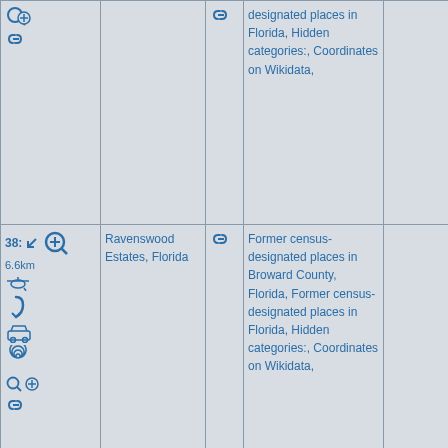| Controls | Name | Link | Categories | Map |
| --- | --- | --- | --- | --- |
| [icons] |  | [link] | designated places in Florida, Hidden categories:, Coordinates on Wikidata, |  |
| 38: 6.6km [icons] | Ravenswood Estates, Florida | [link] | Former census-designated places in Broward County, Florida, Former census-designated places in Florida, Hidden categories:, Coordinates on Wikidata, |  |